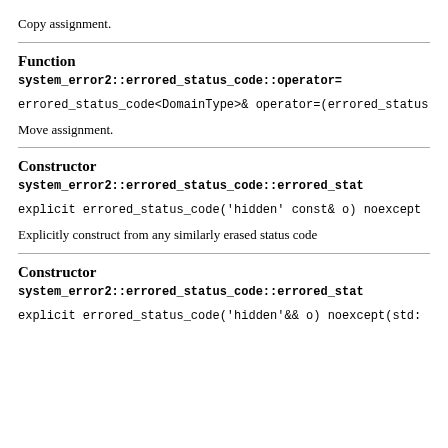Copy assignment.
Function
system_error2::errored_status_code::operator=
errored_status_code<DomainType>& operator=(errored_status…
Move assignment.
Constructor
system_error2::errored_status_code::errored_stat…
explicit errored_status_code('hidden' const& o) noexcept…
Explicitly construct from any similarly erased status code
Constructor
system_error2::errored_status_code::errored_stat…
explicit errored_status_code('hidden'&& o) noexcept(std:…